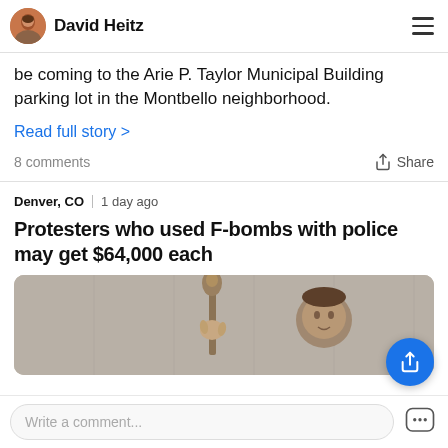David Heitz
be coming to the Arie P. Taylor Municipal Building parking lot in the Montbello neighborhood.
Read full story >
8 comments
Share
Denver, CO  1 day ago
Protesters who used F-bombs with police may get $64,000 each
[Figure (photo): Close-up photo of a person holding a torch or staff, with a statue or figure visible in the background. Muted gray-brown tones.]
Write a comment...